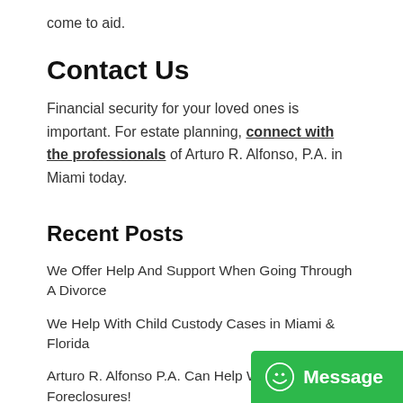come to aid.
Contact Us
Financial security for your loved ones is important. For estate planning, connect with the professionals of Arturo R. Alfonso, P.A. in Miami today.
Recent Posts
We Offer Help And Support When Going Through A Divorce
We Help With Child Custody Cases in Miami & Florida
Arturo R. Alfonso P.A. Can Help With Any Foreclosures!
Top 10 Questions To Ask A Divorce…
Moving Forward After Divorce With The Best Family…